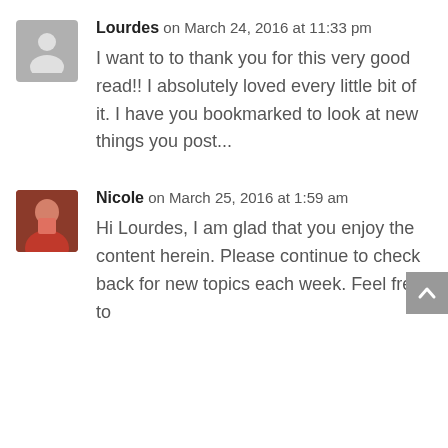Lourdes on March 24, 2016 at 11:33 pm
I want to to thank you for this very good read!! I absolutely loved every little bit of it. I have you bookmarked to look at new things you post...
Nicole on March 25, 2016 at 1:59 am
Hi Lourdes, I am glad that you enjoy the content herein. Please continue to check back for new topics each week. Feel free to